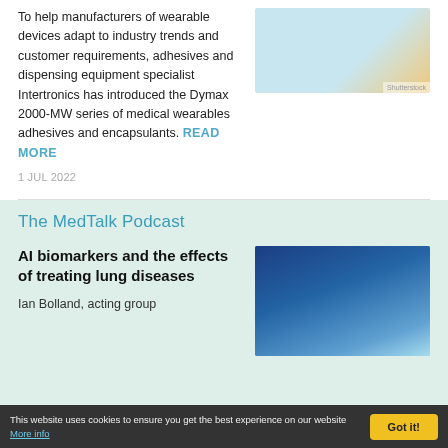To help manufacturers of wearable devices adapt to industry trends and customer requirements, adhesives and dispensing equipment specialist Intertronics has introduced the Dymax 2000-MW series of medical wearables adhesives and encapsulants. READ MORE
[Figure (photo): Photo of a wearable medical device with light blue background, Shutterstock watermark]
1 JUL 2022
The MedTalk Podcast
AI biomarkers and the effects of treating lung diseases
Ian Bolland, acting group
[Figure (photo): Photo showing a doctor or medical professional with digital health/lung icons overlay, blue tones]
This website uses cookies to ensure you get the best experience on our website More info